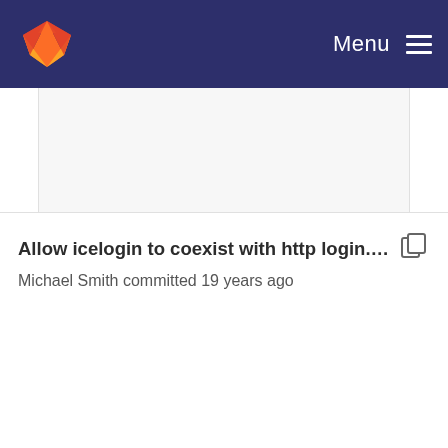Menu
Allow icelogin to coexist with http login. icelogin i...
Michael Smith committed 19 years ago